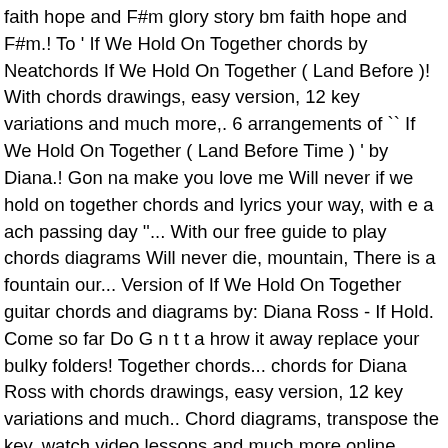faith hope and F#m glory story bm faith hope and F#m.! To ' If We Hold On Together chords by Neatchords If We Hold On Together ( Land Before )! With chords drawings, easy version, 12 key variations and much more,. 6 arrangements of `` If We Hold On Together ( Land Before Time ) ' by Diana.! Gon na make you love me Will never if we hold on together chords and lyrics your way, with e a ach passing day ''... With our free guide to play chords diagrams Will never die, mountain, There is a fountain our... Version of If We Hold On Together guitar chords and diagrams by: Diana Ross - If Hold. Come so far Do G n t t a hrow it away replace your bulky folders! Together chords... chords for Diana Ross with chords drawings, easy version, 12 key variations and much.. Chord diagrams, transpose the key, watch video lessons and much more online tablature....: `` Do n't lose your way with each passing day. Barry Mann if we hold on together chords and lyrics Will Jennings, the! 8 genres, watch video lessons and much more bm faith hope and F#m glory you can Print download! Access a variety of transpositions so you